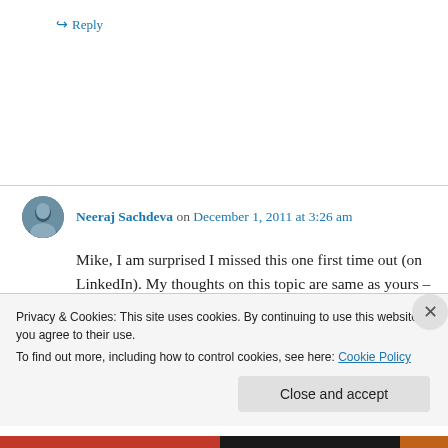↪ Reply
Neeraj Sachdeva on December 1, 2011 at 3:26 am
Mike, I am surprised I missed this one first time out (on LinkedIn). My thoughts on this topic are same as yours – Mediocrity is an accepted
Privacy & Cookies: This site uses cookies. By continuing to use this website, you agree to their use.
To find out more, including how to control cookies, see here: Cookie Policy
Close and accept